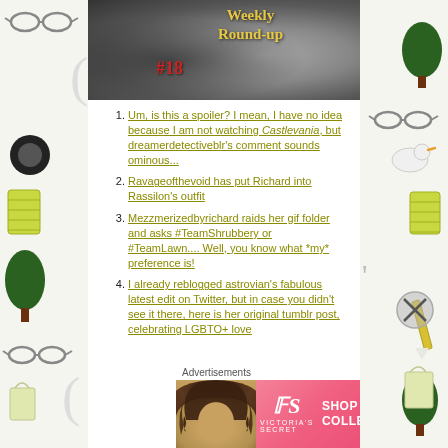[Figure (photo): Header image: Weekly Round-up #18 banner with cat/animal photo, yellow title text and red number]
Um, is this a spoiler? I mean, I have no idea because I am not watching Castlevania, but dreamerdetectiveblr's comment sounds ominous...
Ravageofthevoid has put Richard into Rassilon's outfit
Mezzmerizedbyrichard raids her gif folder and asks #TeamShrubbery or #TeamLawn.... Well, you know what *my* preference is!
I already reblogged astrovian's fabulous latest edit on Twitter, but in case you didn't see it there, here is her original tumblr post, celebrating LGBTO+ love
Advertisements
[Figure (photo): Victoria's Secret advertisement banner: model with curly hair, VS logo, SHOP THE COLLECTION text, SHOP NOW button on pink/red gradient background]